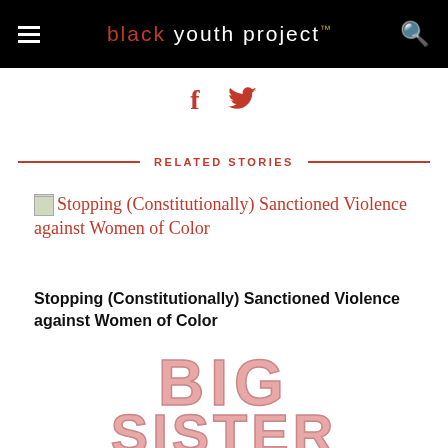black youth project™
[Figure (screenshot): Social share icons: Facebook (f) and Twitter (bird) in red]
RELATED STORIES
[Figure (photo): Thumbnail image placeholder for article about Stopping (Constitutionally) Sanctioned Violence against Women of Color]
Stopping (Constitutionally) Sanctioned Violence against Women of Color
Stopping (Constitutionally) Sanctioned Violence against Women of Color
[Figure (illustration): Large pink collegiate-style text reading BIG SISTER]